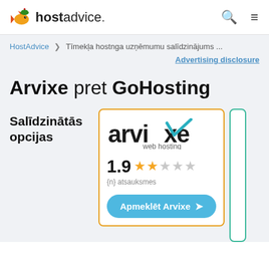hostadvice.
HostAdvice > Tīmekļa hostnga uzņēmumu salīdzinājums ...
Advertising disclosure
Arvixe pret GoHosting
Salīdzinātās opcijas
[Figure (logo): Arvixe web hosting logo with teal checkmark, star rating 1.9 out of 5, and 'Apmeklēt Arvixe' button]
[Figure (other): Partial view of GoHosting card with teal border]